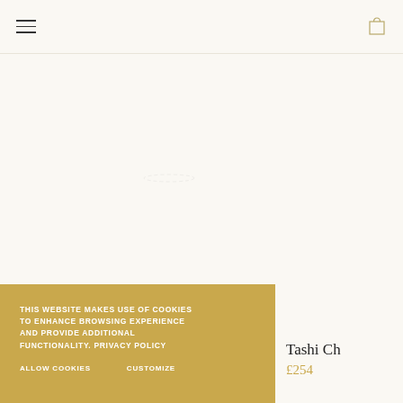Navigation header with hamburger menu and shopping bag icon
[Figure (other): Product image area with light beige background, loading state with faint circular indicator]
THIS WEBSITE MAKES USE OF COOKIES TO ENHANCE BROWSING EXPERIENCE AND PROVIDE ADDITIONAL FUNCTIONALITY. PRIVACY POLICY

ALLOW COOKIES    CUSTOMIZE
Tashi Ch
£254